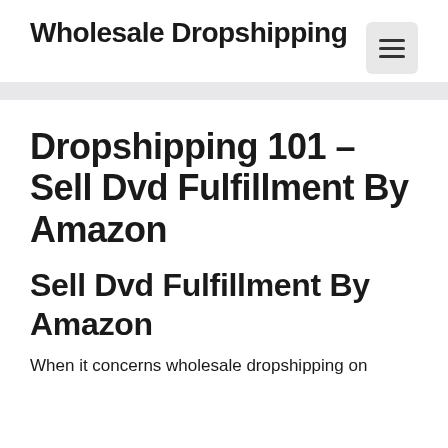Wholesale Dropshipping
Dropshipping 101 – Sell Dvd Fulfillment By Amazon
Sell Dvd Fulfillment By Amazon
When it concerns wholesale dropshipping on